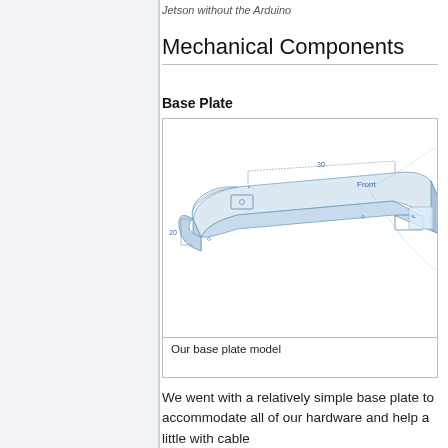Jetson without the Arduino
Mechanical Components
Base Plate
[Figure (engineering-diagram): 3D CAD isometric view of a base plate component. The plate is elongated with rounded corners, shown in light blue/gray. Dimension annotations are visible. A 'Front' label with projection lines is shown on the right side. Small mounting holes and rectangular cutouts are visible on the plate surface.]
Our base plate model
We went with a relatively simple base plate to accommodate all of our hardware and help a little with cable